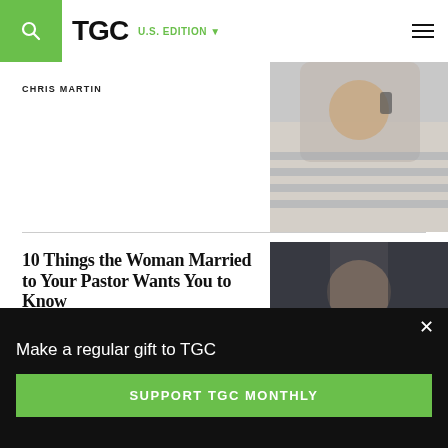TGC | U.S. Edition
CHRIS MARTIN
[Figure (photo): Person wearing striped shirt, holding phone to ear]
10 Things the Woman Married to Your Pastor Wants You to Know
SHARI THOMAS
[Figure (photo): Woman with hands clasped together in prayer, dark moody background]
Make a regular gift to TGC
SUPPORT TGC MONTHLY